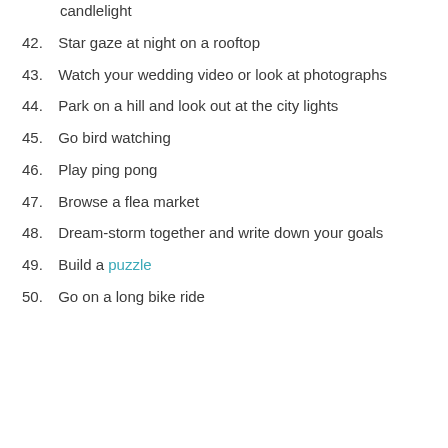candlelight
42. Star gaze at night on a rooftop
43. Watch your wedding video or look at photographs
44. Park on a hill and look out at the city lights
45. Go bird watching
46. Play ping pong
47. Browse a flea market
48. Dream-storm together and write down your goals
49. Build a puzzle
50. Go on a long bike ride